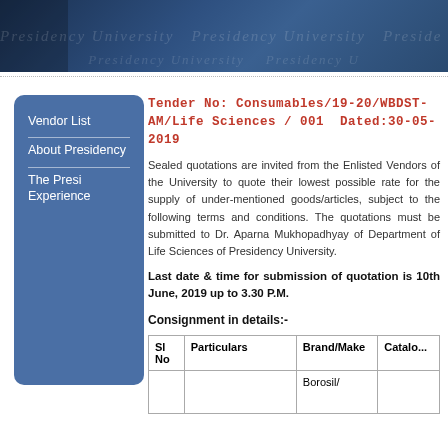[Figure (photo): Header banner showing Presidency University building and watermark text]
Tender No: Consumables/19-20/WBDST-AM/Life Sciences / 001  Dated:30-05-2019
Vendor List
About Presidency
The Presi Experience
Sealed quotations are invited from the Enlisted Vendors of the University to quote their lowest possible rate for the supply of under-mentioned goods/articles, subject to the following terms and conditions. The quotations must be submitted to Dr. Aparna Mukhopadhyay of Department of Life Sciences of Presidency University.
Last date & time for submission of quotation is 10th June, 2019 up to 3.30 P.M.
Consignment in details:-
| Sl No | Particulars | Brand/Make | Catalo... |
| --- | --- | --- | --- |
|  |  | Borosil/ |  |